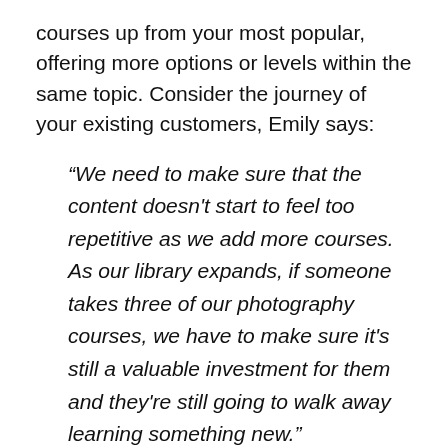courses up from your most popular, offering more options or levels within the same topic. Consider the journey of your existing customers, Emily says:
“We need to make sure that the content doesn't start to feel too repetitive as we add more courses. As our library expands, if someone takes three of our photography courses, we have to make sure it’s still a valuable investment for them and they’re still going to walk away learning something new.”
7. Add a community element: use private